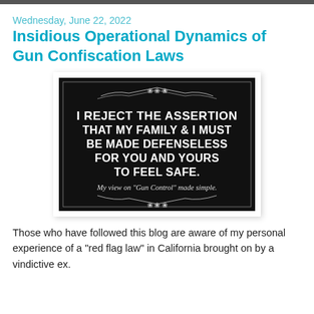Wednesday, June 22, 2022
Insidious Operational Dynamics of Gun Confiscation Laws
[Figure (illustration): Black image with decorative border containing bold white text: 'I REJECT THE ASSERTION THAT MY FAMILY & I MUST BE MADE DEFENSELESS FOR YOU AND YOURS TO FEEL SAFE.' and italic text below: 'My view on "Gun Control" made simple.']
Those who have followed this blog are aware of my personal experience of a "red flag law" in California brought on by a vindictive ex.